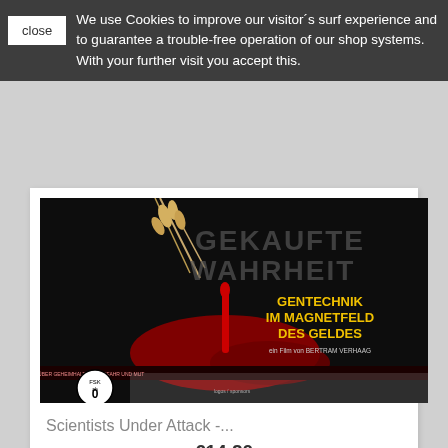We use Cookies to improve our visitor´s surf experience and to guarantee a trouble-free operation of our shop systems. With your further visit you accept this.
[Figure (photo): Movie DVD cover for 'Scientists Under Attack - Gekaufte Wahrheit' - Gentechnik im Magnetfeld des Geldes, a film by Bertram Verhaag. Black background with wheat and red liquid, FSK 0 rating.]
Scientists Under Attack -...
€14.20
[Figure (photo): Partial photo of an older man with glasses and curly grey hair, outdoors with green fields and blue sky in background.]